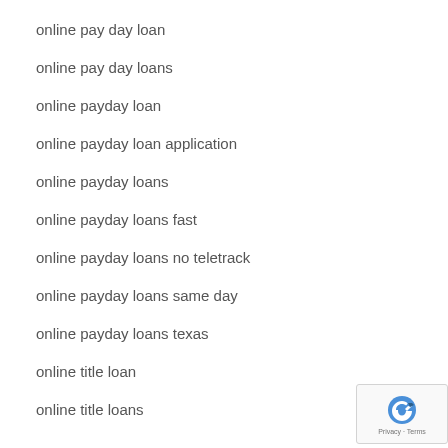online pay day loan
online pay day loans
online payday loan
online payday loan application
online payday loans
online payday loans fast
online payday loans no teletrack
online payday loans same day
online payday loans texas
online title loan
online title loans